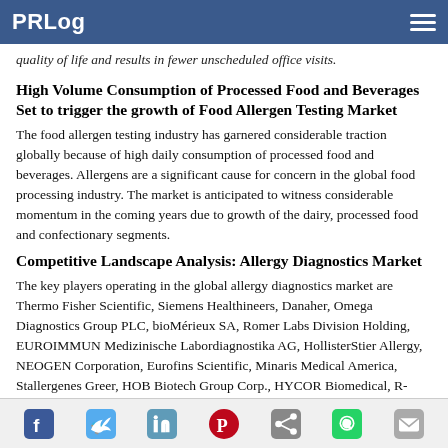PRLog
quality of life and results in fewer unscheduled office visits.
High Volume Consumption of Processed Food and Beverages Set to trigger the growth of Food Allergen Testing Market
The food allergen testing industry has garnered considerable traction globally because of high daily consumption of processed food and beverages. Allergens are a significant cause for concern in the global food processing industry. The market is anticipated to witness considerable momentum in the coming years due to growth of the dairy, processed food and confectionary segments.
Competitive Landscape Analysis: Allergy Diagnostics Market
The key players operating in the global allergy diagnostics market are Thermo Fisher Scientific, Siemens Healthineers, Danaher, Omega Diagnostics Group PLC, bioMérieux SA, Romer Labs Division Holding, EUROIMMUN Medizinische Labordiagnostika AG, HollisterStier Allergy, NEOGEN Corporation, Eurofins Scientific, Minaris Medical America, Stallergenes Greer, HOB Biotech Group Corp., HYCOR Biomedical, R-Biopharm AG, AESKU.GROUP GmbH, ACON Laboratories, Lincoln
Social sharing icons: Facebook, Twitter, LinkedIn, Pinterest, Share, WhatsApp, Email